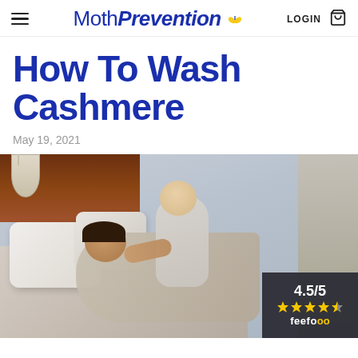MothPrevention — LOGIN
How To Wash Cashmere
May 19, 2021
[Figure (photo): A mother lying on a bed with a smiling baby dressed in grey cashmere clothing. White pillows and soft bedding visible. Feefo badge showing 4.5/5 rating in bottom right corner.]